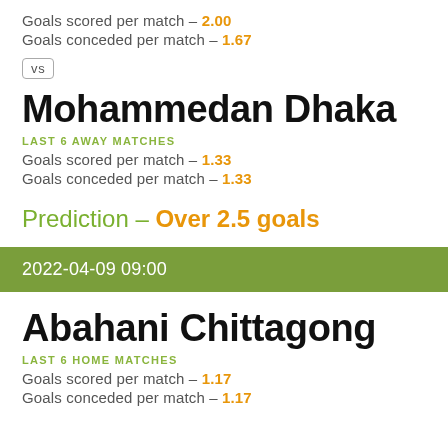Goals scored per match - 2.00
Goals conceded per match - 1.67
vs
Mohammedan Dhaka
LAST 6 AWAY MATCHES
Goals scored per match - 1.33
Goals conceded per match - 1.33
Prediction - Over 2.5 goals
2022-04-09 09:00
Abahani Chittagong
LAST 6 HOME MATCHES
Goals scored per match - 1.17
Goals conceded per match - 1.17